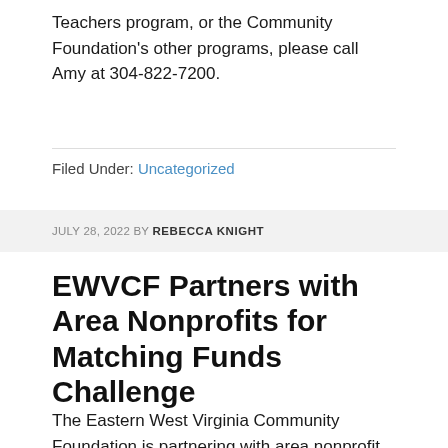Teachers program, or the Community Foundation's other programs, please call Amy at 304-822-7200.
Filed Under: Uncategorized
JULY 28, 2022 BY REBECCA KNIGHT
EWVCF Partners with Area Nonprofits for Matching Funds Challenge
The Eastern West Virginia Community Foundation is partnering with area nonprofit